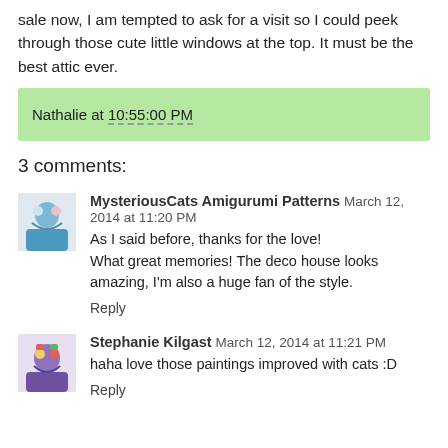sale now, I am tempted to ask for a visit so I could peek through those cute little windows at the top. It must be the best attic ever.
Nathalie at 10:55:00 PM
3 comments:
MysteriousCats Amigurumi Patterns March 12, 2014 at 11:20 PM
As I said before, thanks for the love!
What great memories! The deco house looks amazing, I'm also a huge fan of the style.
Reply
Stephanie Kilgast March 12, 2014 at 11:21 PM
haha love those paintings improved with cats :D
Reply